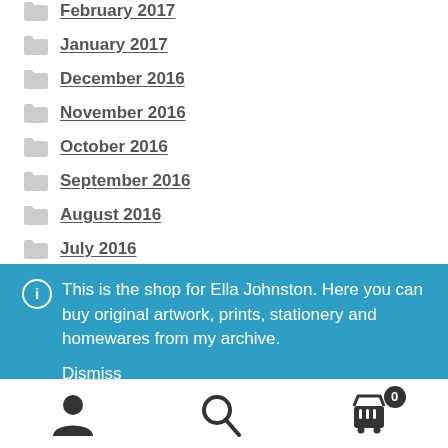February 2017
January 2017
December 2016
November 2016
October 2016
September 2016
August 2016
July 2016
This is the shop for Ella Johnston. Here you can buy original artwork, prints, stationery and homewares from my archive. Dismiss